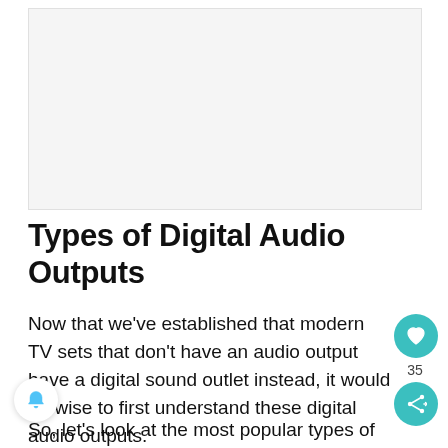[Figure (other): Light gray advertisement placeholder box]
Types of Digital Audio Outputs
Now that we've established that modern TV sets that don't have an audio output have a digital sound outlet instead, it would be wise to first understand these digital audio outputs.
So, let's look at the most popular types of digital